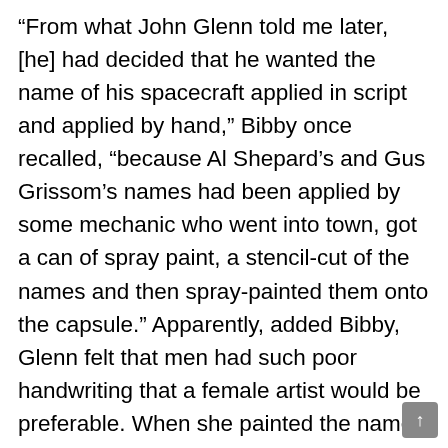“From what John Glenn told me later, [he] had decided that he wanted the name of his spacecraft applied in script and applied by hand,” Bibby once recalled, “because Al Shepard’s and Gus Grissom’s names had been applied by some mechanic who went into town, got a can of spray paint, a stencil-cut of the names and then spray-painted them onto the capsule.” Apparently, added Bibby, Glenn felt that men had such poor handwriting that a female artist would be preferable. When she painted the name on the capsule, Bibby, clad in white clean-room garb, became the only woman to ascend the gantry to Pad 14 and was even told by the pad leader, Guenter Wendt, that she did not belong there. So pleased was Glenn with the design, though, that Gus Grissom dared Bibby to